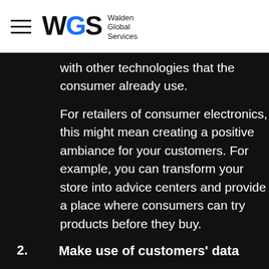WGS Walden Global Services
with other technologies that the consumer already use.
For retailers of consumer electronics, this might mean creating a positive ambiance for your customers. For example, you can transform your store into advice centers and provide a place where consumers can try products before they buy.
2. Make use of customers' data
The first place to start to increase customer loyalty is by analyzing the